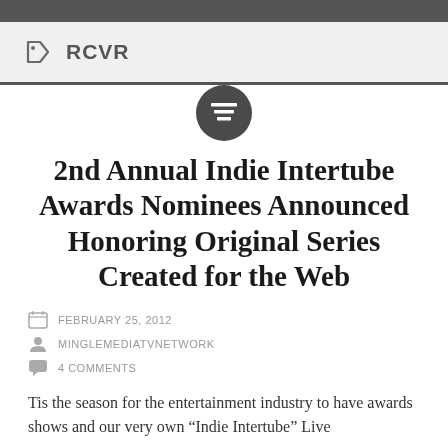RCVR
2nd Annual Indie Intertube Awards Nominees Announced Honoring Original Series Created for the Web
FEBRUARY 25, 2012
MINGLEMEDIATVNETWORK
4 COMMENTS
Tis the season for the entertainment industry to have awards shows and our very own “Indie Intertube” Live